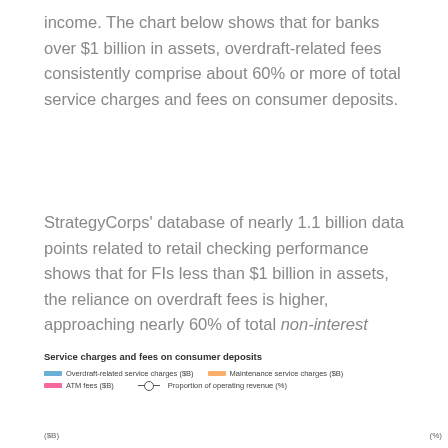income. The chart below shows that for banks over $1 billion in assets, overdraft-related fees consistently comprise about 60% or more of total service charges and fees on consumer deposits.
StrategyCorps' database of nearly 1.1 billion data points related to retail checking performance shows that for FIs less than $1 billion in assets, the reliance on overdraft fees is higher, approaching nearly 60% of total non-interest income.
[Figure (other): Partial chart showing 'Service charges and fees on consumer deposits' with legend items: Overdraft-related service charges ($B), Maintenance service charges ($B), ATM fees ($B), Proportion of operating revenue (%). Y-axis labels ($B) and (%) visible.]